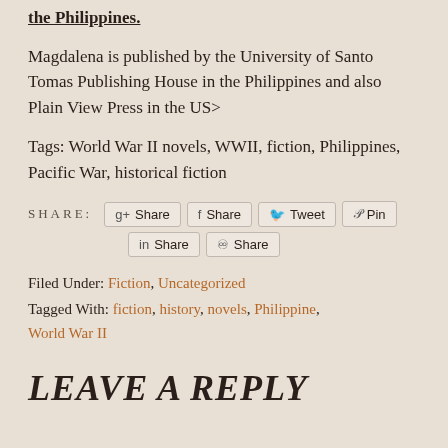the Philippines.
Magdalena is published by the University of Santo Tomas Publishing House in the Philippines and also Plain View Press in the US>
Tags: World War II novels, WWII, fiction, Philippines, Pacific War, historical fiction
SHARE: [Google+ Share] [Facebook Share] [Tweet] [Pinterest Pin] [LinkedIn Share] [StumbleUpon Share]
Filed Under: Fiction, Uncategorized
Tagged With: fiction, history, novels, Philippine, World War II
LEAVE A REPLY